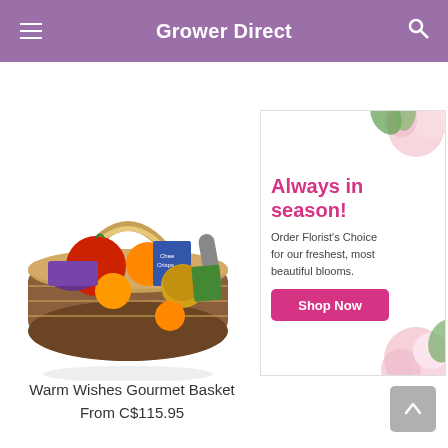Grower Direct
[Figure (photo): Wicker gourmet basket filled with fruits, cheeses, crackers, sausage, and other gourmet items]
Warm Wishes Gourmet Basket
From C$115.95
[Figure (infographic): Advertisement banner with flowers showing 'Always in season! Order Florist's Choice for our freshest, most beautiful blooms.' with a pink 'Shop Now' button]